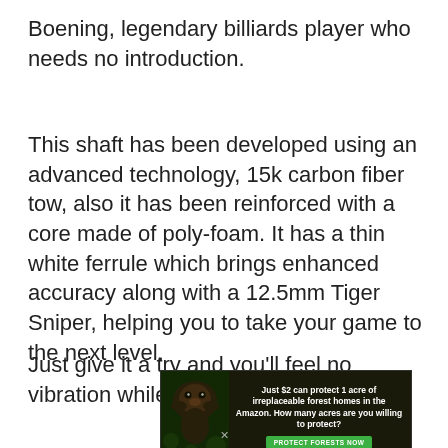Boening, legendary billiards player who needs no introduction.
This shaft has been developed using an advanced technology, 15k carbon fiber tow, also it has been reinforced with a core made of poly-foam. It has a thin white ferrule which brings enhanced accuracy along with a 12.5mm Tiger Sniper, helping you to take your game to the next level.
Just give it a try and you'll feel no vibration while
[Figure (other): Advertisement banner: dark green/black background with an image of a forest animal (orangutan/primate) on the left, and text on the right reading 'Just $2 can protect 1 acre of irreplaceable forest homes in the Amazon. How many acres are you willing to protect?' with a green button labeled 'PROTECT FORESTS NOW']